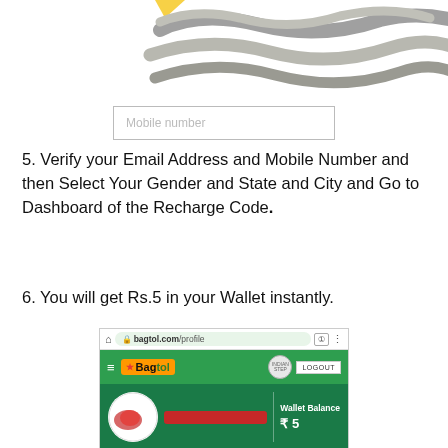[Figure (illustration): Decorative wave/abstract lines design at top, partially cropped, with a small yellow element visible at top-left]
[Figure (screenshot): Mobile input field with placeholder text 'Mobile number']
5. Verify your Email Address and Mobile Number and then Select Your Gender and State and City and Go to Dashboard of the Recharge Code.
6. You will get Rs.5 in your Wallet instantly.
[Figure (screenshot): Screenshot of bagtol.com/profile page showing Bagtol app with Wallet Balance of ₹5]